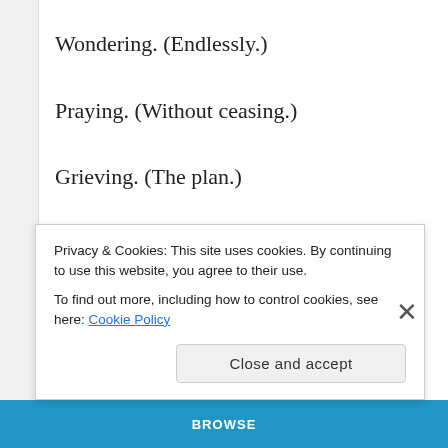Wondering. (Endlessly.)
Praying. (Without ceasing.)
Grieving. (The plan.)
Scared. (Tremendously.)
Stepping forward in the dark. (Being a light.)
Still scared. (terrifiedly.)
Privacy & Cookies: This site uses cookies. By continuing to use this website, you agree to their use.
To find out more, including how to control cookies, see here: Cookie Policy
Close and accept